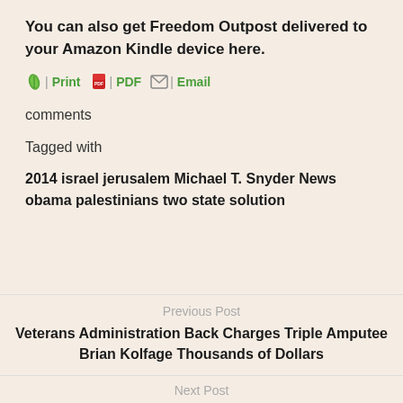You can also get Freedom Outpost delivered to your Amazon Kindle device here.
Print  PDF  Email
comments
Tagged with
2014 israel jerusalem Michael T. Snyder News obama palestinians two state solution
Previous Post
Veterans Administration Back Charges Triple Amputee Brian Kolfage Thousands of Dollars
Next Post